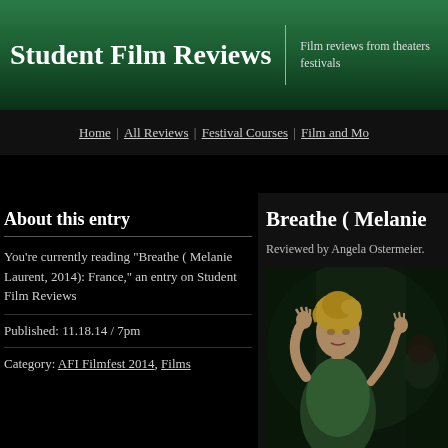Student Film Reviews | Film reviews from theaters festivals
Home | All Reviews | Festival Courses | Film and Mo...
About this entry
You're currently reading "Breathe ( Melanie Laurent, 2014): France," an entry on Student Film Reviews
Published: 11.18.14 / 7pm
Category: AFI Filmfest 2014, Films
Breathe ( Melanie
Reviewed by Angela Ostermeier.
[Figure (photo): Photo of a woman with blonde hair in a green top, hands raised, in a dramatic scene from the film Breathe]